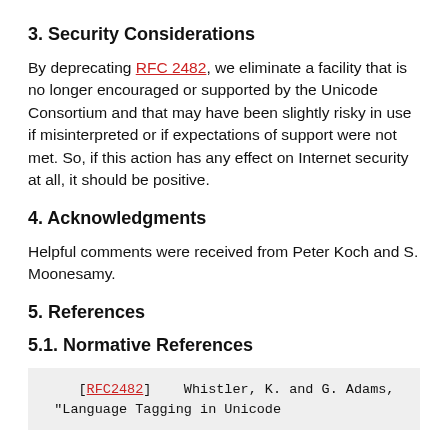3. Security Considerations
By deprecating RFC 2482, we eliminate a facility that is no longer encouraged or supported by the Unicode Consortium and that may have been slightly risky in use if misinterpreted or if expectations of support were not met. So, if this action has any effect on Internet security at all, it should be positive.
4. Acknowledgments
Helpful comments were received from Peter Koch and S. Moonesamy.
5. References
5.1. Normative References
[RFC2482]    Whistler, K. and G. Adams, "Language Tagging in Unicode